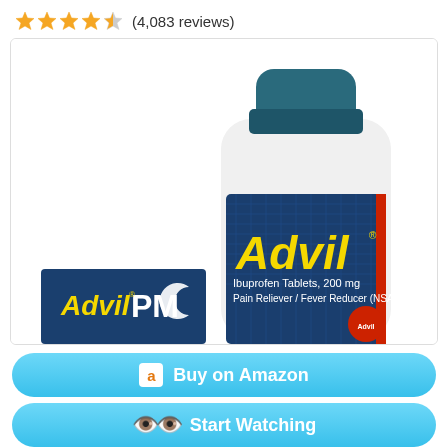★★★★☆ (4,083 reviews)
[Figure (photo): Advil Ibuprofen Tablets 200mg bottle with blue cap and dark blue label showing 'Advil' in yellow text, 'Ibuprofen Tablets, 200 mg', 'Pain Reliever / Fever Reducer (NSAID)'. An Advil PM box is visible in the lower left corner.]
Buy on Amazon
Start Watching